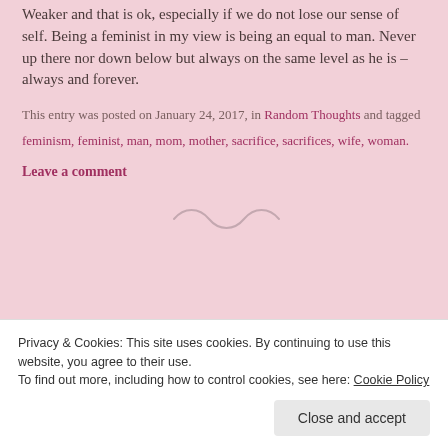Weaker and that is ok, especially if we do not lose our sense of self. Being a feminist in my view is being an equal to man. Never up there nor down below but always on the same level as he is – always and forever.
This entry was posted on January 24, 2017, in Random Thoughts and tagged feminism, feminist, man, mom, mother, sacrifice, sacrifices, wife, woman.
Leave a comment
[Figure (illustration): Decorative swirl/tilde divider in muted rose/taupe color]
Of Bipolar and baby
Privacy & Cookies: This site uses cookies. By continuing to use this website, you agree to their use. To find out more, including how to control cookies, see here: Cookie Policy
Close and accept